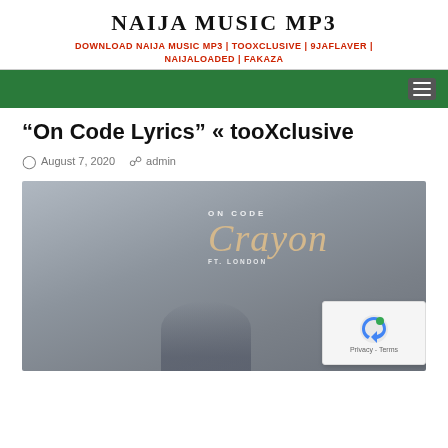NAIJA MUSIC MP3
DOWNLOAD NAIJA MUSIC MP3 | TOOXCLUSIVE | 9JAFLAVER | NAIJALOADED | FAKAZA
“On Code Lyrics” « tooXclusive
August 7, 2020  admin
[Figure (photo): Album art for 'On Code' by Crayon ft. London. Shows text 'ON CODE', 'Crayon' in stylized script, and 'FT. LONDON' on a grey background with a partial figure at the bottom. A reCAPTCHA overlay appears in the bottom right.]